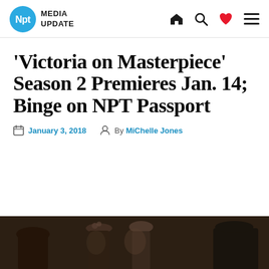Npt MEDIA UPDATE
'Victoria on Masterpiece' Season 2 Premieres Jan. 14; Binge on NPT Passport
January 3, 2018  By MiChelle Jones
[Figure (photo): Photo of Victoria on Masterpiece cast members in period costume]